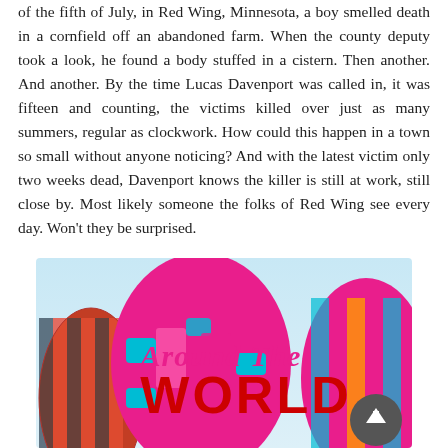of the fifth of July, in Red Wing, Minnesota, a boy smelled death in a cornfield off an abandoned farm. When the county deputy took a look, he found a body stuffed in a cistern. Then another. And another. By the time Lucas Davenport was called in, it was fifteen and counting, the victims killed over just as many summers, regular as clockwork. How could this happen in a town so small without anyone noticing? And with the latest victim only two weeks dead, Davenport knows the killer is still at work, still close by. Most likely someone the folks of Red Wing see every day. Won't they be surprised.
[Figure (illustration): Hot air balloons image with text 'Around The WORLD' overlaid in pink and red lettering. Balloons are colorful — pink, blue, orange, dark striped patterns against a light blue sky.]